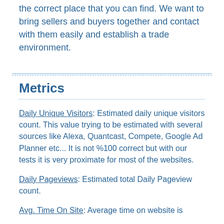the correct place that you can find. We want to bring sellers and buyers together and contact with them easily and establish a trade environment.
Metrics
Daily Unique Visitors: Estimated daily unique visitors count. This value trying to be estimated with several sources like Alexa, Quantcast, Compete, Google Ad Planner etc... It is not %100 correct but with our tests it is very proximate for most of the websites.
Daily Pageviews: Estimated total Daily Pageview count.
Avg. Time On Site: Average time on website is